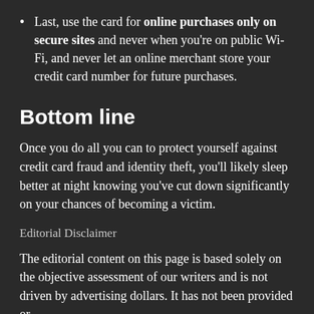Last, use the card for online purchases only on secure sites and never when you're on public Wi-Fi, and never let an online merchant store your credit card number for future purchases.
Bottom line
Once you do all you can to protect yourself against credit card fraud and identity theft, you'll likely sleep better at night knowing you've cut down significantly on your chances of becoming a victim.
Editorial Disclaimer
The editorial content on this page is based solely on the objective assessment of our writers and is not driven by advertising dollars. It has not been provided or